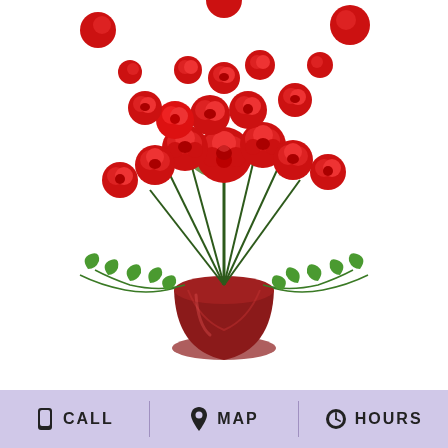[Figure (photo): Bouquet of red roses with green ivy and evergreen foliage in a dark red vase, cropped so only the arrangement is visible against a white background]
CUPID'S CHRISTMAS FLORAL DESIGN
Shown at $125.00
Same Day Delivery!
BUY NOW
CALL  MAP  HOURS